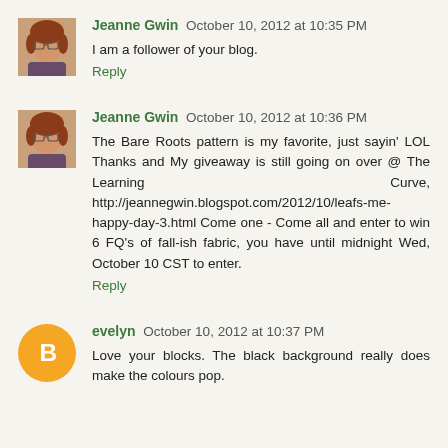[Figure (photo): Small square avatar photo of a woman with red hair and glasses]
Jeanne Gwin October 10, 2012 at 10:35 PM
I am a follower of your blog.
Reply
[Figure (photo): Small square avatar photo of a woman with red hair]
Jeanne Gwin October 10, 2012 at 10:36 PM
The Bare Roots pattern is my favorite, just sayin' LOL Thanks and My giveaway is still going on over @ The Learning Curve, http://jeannegwin.blogspot.com/2012/10/leafs-me-happy-day-3.html Come one - Come all and enter to win 6 FQ's of fall-ish fabric, you have until midnight Wed, October 10 CST to enter.
Reply
[Figure (logo): Orange circle with white Blogger 'B' logo icon]
evelyn October 10, 2012 at 10:37 PM
Love your blocks. The black background really does make the colours pop.